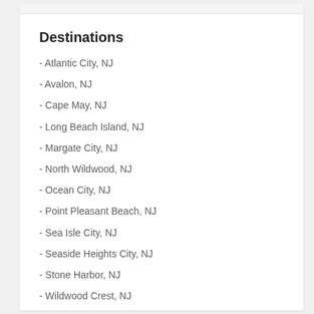Destinations
- Atlantic City, NJ
- Avalon, NJ
- Cape May, NJ
- Long Beach Island, NJ
- Margate City, NJ
- North Wildwood, NJ
- Ocean City, NJ
- Point Pleasant Beach, NJ
- Sea Isle City, NJ
- Seaside Heights City, NJ
- Stone Harbor, NJ
- Wildwood Crest, NJ